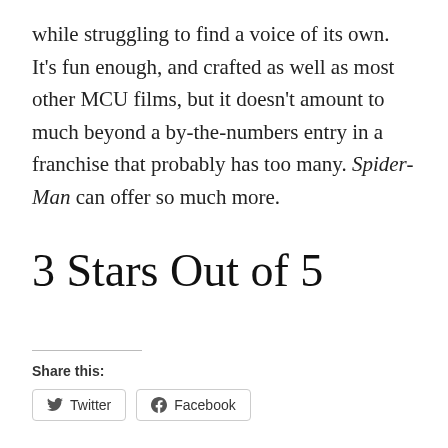while struggling to find a voice of its own. It's fun enough, and crafted as well as most other MCU films, but it doesn't amount to much beyond a by-the-numbers entry in a franchise that probably has too many. Spider-Man can offer so much more.
3 Stars Out of 5
Share this: